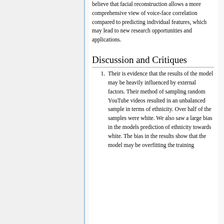believe that facial reconstruction allows a more comprehensive view of voice-face correlation compared to predicting individual features, which may lead to new research opportunities and applications.
Discussion and Critiques
Their is evidence that the results of the model may be heavily influenced by external factors. Their method of sampling random YouTube videos resulted in an unbalanced sample in terms of ethnicity. Over half of the samples were white. We also saw a large bias in the models prediction of ethnicity towards white. The bias in the results show that the model may be overfitting the training